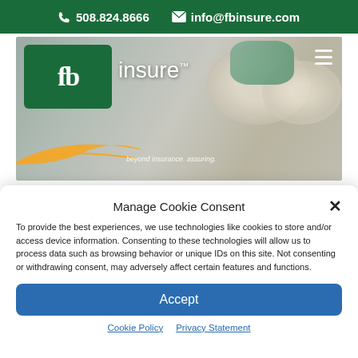508.824.8666  info@fbinsure.com
[Figure (screenshot): FB Insure website header screenshot showing the fb insure logo on a green background with a hero image of safety masks and goggles, and a hamburger menu icon. Tagline: beyond insurance. assuring.]
Manage Cookie Consent
To provide the best experiences, we use technologies like cookies to store and/or access device information. Consenting to these technologies will allow us to process data such as browsing behavior or unique IDs on this site. Not consenting or withdrawing consent, may adversely affect certain features and functions.
Accept
Cookie Policy  Privacy Statement